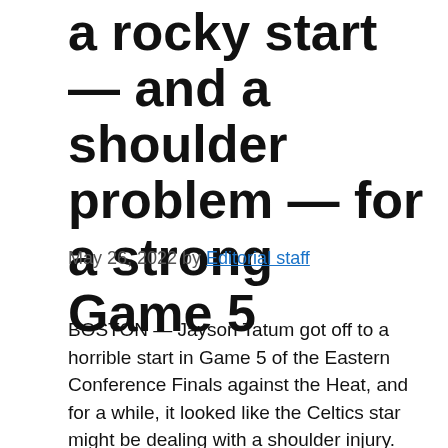a rocky start — and a shoulder problem — for a strong Game 5
May 26, 2022 by Editorial staff
BOSTON — Jayson Tatum got off to a horrible start in Game 5 of the Eastern Conference Finals against the Heat, and for a while, it looked like the Celtics star might be dealing with a shoulder injury.
It's the playoffs, so no one is completely